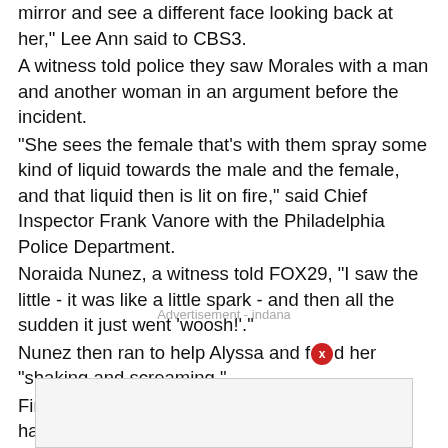mirror and see a different face looking back at her," Lee Ann said to CBS3.
A witness told police they saw Morales with a man and another woman in an argument before the incident.
"She sees the female that's with them spray some kind of liquid towards the male and the female, and that liquid then is lit on fire," said Chief Inspector Frank Vanore with the Philadelphia Police Department.
Noraida Nunez, a witness told FOX29, "I saw the little - it was like a little spark - and then all the sudden it just went 'woosh!'."
Nunez then ran to help Alyssa and found her "shaking and screaming."
Firefighters were called to the park where they had a hard time identifying Alyssa with all the burns.
“She was in too much pain to identify herself when she arrived at the hospital, and was listed as a Jane Doe for two days before her family was able to see her,” Alyssa's GoFundMe page reads.
[Figure (other): Advertisement banner placeholder box at bottom of page]